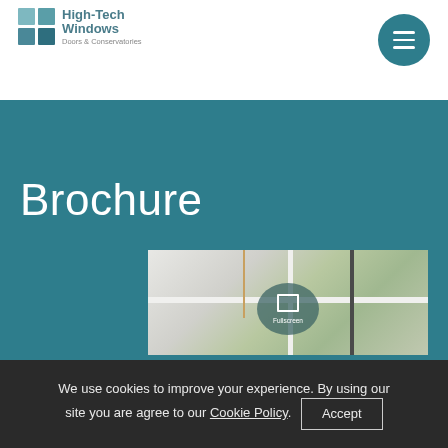[Figure (logo): High-Tech Windows Doors & Conservatories logo with teal grid icon]
[Figure (other): Circular teal hamburger menu button with three white horizontal lines]
Brochure
[Figure (photo): Photo of white window frames with a brass/wooden pull cord, showing greenery through the glass. A fullscreen button overlay with square icon and text 'Fullscreen' is visible, along with left and right carousel navigation arrows.]
We use cookies to improve your experience. By using our site you are agree to our Cookie Policy.  Accept